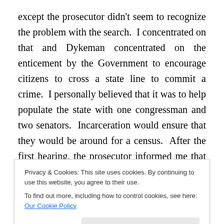except the prosecutor didn't seem to recognize the problem with the search.  I concentrated on that and Dykeman concentrated on the enticement by the Government to encourage citizens to cross a state line to commit a crime.  I personally believed that it was to help populate the state with one congressman and two senators.  Incarceration would ensure that they would be around for a census.  After the first hearing, the prosecutor informed me that the U.S. Attorney was interested in my case.  He explained that he was a part-time prosecutor and dealing with me took up too much time.  He
motions.
Privacy & Cookies: This site uses cookies. By continuing to use this website, you agree to their use.
To find out more, including how to control cookies, see here: Our Cookie Policy